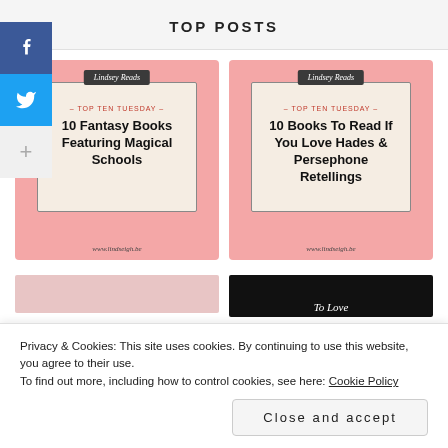TOP POSTS
[Figure (illustration): Book blog card with pink background, 'Lindsey Reads' dark label, '- TOP TEN TUESDAY -' subtitle, bold title '10 Fantasy Books Featuring Magical Schools', and URL www.lindseigh.be]
[Figure (illustration): Book blog card with pink background, 'Lindsey Reads' dark label, '- TOP TEN TUESDAY -' subtitle, bold title '10 Books To Read If You Love Hades & Persephone Retellings', and URL www.lindseigh.be]
Privacy & Cookies: This site uses cookies. By continuing to use this website, you agree to their use.
To find out more, including how to control cookies, see here: Cookie Policy
Close and accept